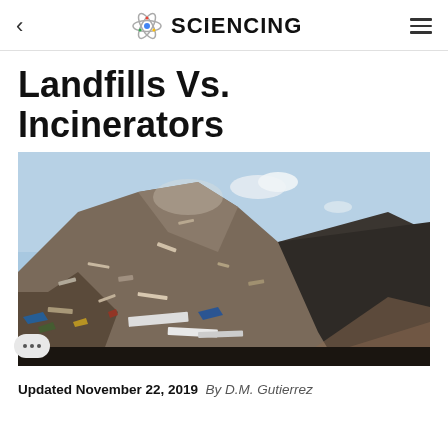< SCIENCING ≡
Landfills Vs. Incinerators
[Figure (photo): Large pile of mixed waste and debris at a landfill site, with a dirt road alongside a dark earthen mound, under a light blue sky with a few clouds.]
Updated November 22, 2019  By D.M. Gutierrez